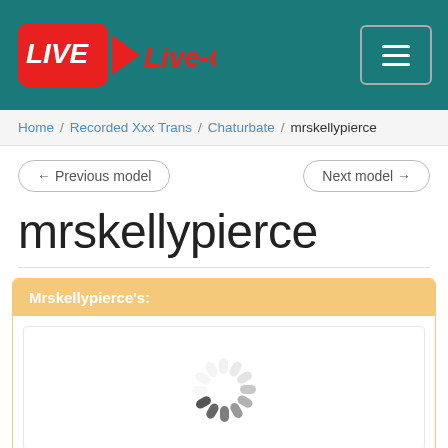[Figure (logo): Live-Camz website logo with red LIVE box and camera icon on teal header background, with hamburger menu button top right]
Home / Recorded Xxx Trans / Chaturbate / mrskellypierce
← Previous model
Next model →
mrskellypierce
Mrskellypierce's:
[Figure (screenshot): Loading spinner (animated circular spinner in grey) inside a bordered content area]